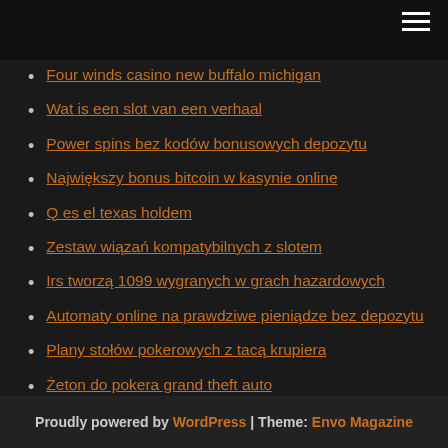Four winds casino new buffalo michigan
Wat is een slot van een verhaal
Power spins bez kodów bonusowych depozytu
Największy bonus bitcoin w kasynie online
Q es el texas holdem
Zestaw wiązań kompatybilnych z slotem
Irs tworzą 1099 wygranych w grach hazardowych
Automaty online na prawdziwe pieniądze bez depozytu
Plany stołów pokerowych z tacą krupiera
Żeton do pokera grand theft auto
Proudly powered by WordPress | Theme: Envo Magazine